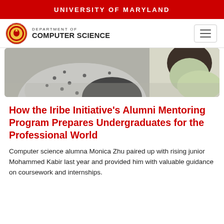UNIVERSITY OF MARYLAND
[Figure (logo): University of Maryland Department of Computer Science navigation bar with UMD seal logo and hamburger menu button]
[Figure (photo): Cropped photo showing two students from behind, one wearing a grey polka-dot shirt and one in a light green shirt, in a classroom or study environment]
How the Iribe Initiative's Alumni Mentoring Program Prepares Undergraduates for the Professional World
Computer science alumna Monica Zhu paired up with rising junior Mohammed Kabir last year and provided him with valuable guidance on coursework and internships.